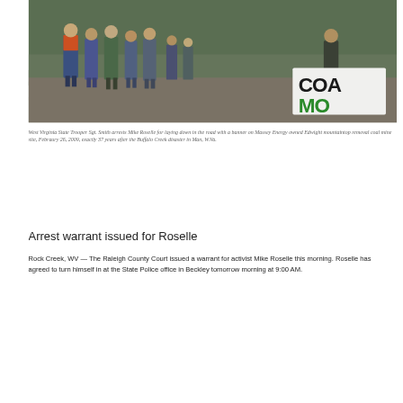[Figure (photo): West Virginia State Troopers arresting Mike Roselle on a muddy road at the Massey Energy owned Edwight mountaintop removal coal mine site. Several people stand on a dirt road; a banner partially visible reads 'COAL' and 'MO' in green letters.]
West Virginia State Trooper Sgt. Smith arrests Mike Roselle for laying down in the road with a banner on Massey Energy owned Edwight mountaintop removal coal mine site, Febraury 26, 2009, exactly 37 years after the Buffalo Creek disaster in Man, W.Va.
Arrest warrant issued for Roselle
Rock Creek, WV — The Raleigh County Court issued a warrant for activist Mike Roselle this morning. Roselle has agreed to turn himself in at the State Police office in Beckley tomorrow morning at 9:00 AM.